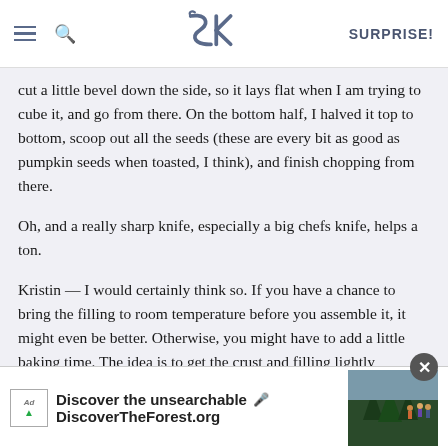SK SURPRISE!
cut a little bevel down the side, so it lays flat when I am trying to cube it, and go from there. On the bottom half, I halved it top to bottom, scoop out all the seeds (these are every bit as good as pumpkin seeds when toasted, I think), and finish chopping from there.
Oh, and a really sharp knife, especially a big chefs knife, helps a ton.
Kristin — I would certainly think so. If you have a chance to bring the filling to room temperature before you assemble it, it might even be better. Otherwise, you might have to add a little baking time. The idea is to get the crust and filling lightly browned.
theysaysilenceisgold — It's true; fall is just a little bit prettier away from the city.
Celest... like the se... pe a
[Figure (screenshot): Advertisement overlay: 'Discover the unsearchable' with DiscoverTheForest.org URL and forest photo, with close button]